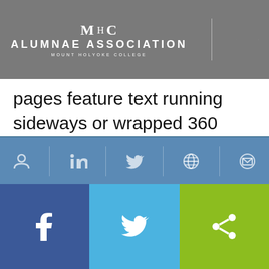MHC Alumnae Association — Mount Holyoke College
pages feature text running sideways or wrapped 360 degrees around a paragraph. Capitalization is dropped entirely from headers. To say that graphic designers got carried away with the new technologies available would be putting it mildly, but who's complaining? Certainly not collectors, or alumnae readers who want always to know more about their hallmark publication.
[Figure (infographic): Social media footer bar with Facebook, Twitter, and share icons in blue and green colors, plus a row of social/navigation icons above.]